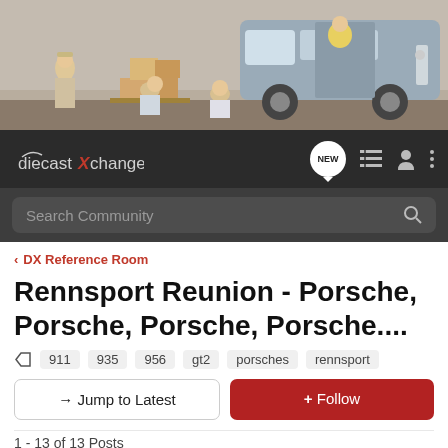[Figure (photo): Advertisement banner showing workers loading boxes onto a Mercedes-Benz van]
diecastXchange | NEW | navigation icons
Search Community
< DX Reference Room
Rennsport Reunion - Porsche, Porsche, Porsche, Porsche....
911  935  956  gt2  porsches  rennsport
→ Jump to Latest   + Follow
1 - 13 of 13 Posts